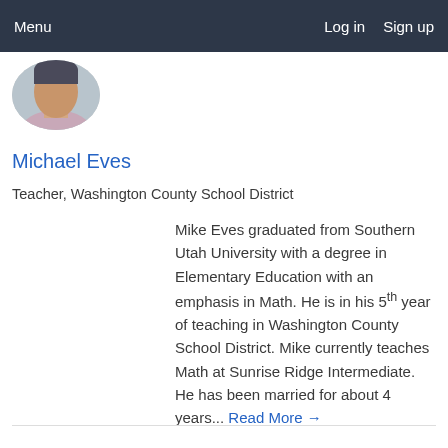Menu   Log in   Sign up
[Figure (photo): Circular profile photo of Michael Eves, partially cropped at top of page]
Michael Eves
Teacher, Washington County School District
Mike Eves graduated from Southern Utah University with a degree in Elementary Education with an emphasis in Math. He is in his 5th year of teaching in Washington County School District. Mike currently teaches Math at Sunrise Ridge Intermediate. He has been married for about 4 years... Read More →